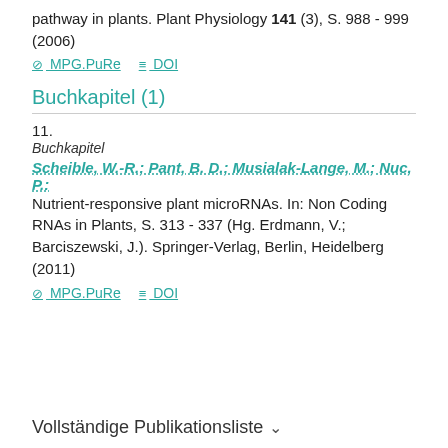pathway in plants. Plant Physiology 141 (3), S. 988 - 999 (2006)
⊘ MPG.PuRe  ≡ DOI
Buchkapitel (1)
11.
Buchkapitel
Scheible, W.-R.; Pant, B. D.; Musialak-Lange, M.; Nuc, P.: Nutrient-responsive plant microRNAs. In: Non Coding RNAs in Plants, S. 313 - 337 (Hg. Erdmann, V.; Barciszewski, J.). Springer-Verlag, Berlin, Heidelberg (2011)
⊘ MPG.PuRe  ≡ DOI
Vollständige Publikationsliste ˅